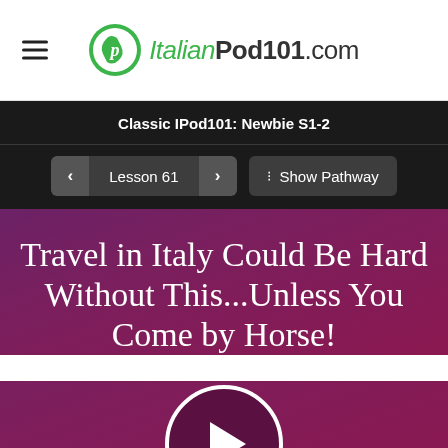ItalianPod101.com
Classic IPod101: Newbie S1-2
Lesson 61  Show Pathway
Travel in Italy Could Be Hard Without This...Unless You Come by Horse!
[Figure (other): Play button circle for audio/video lesson]